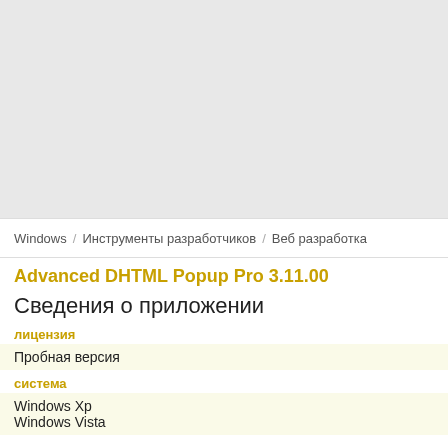[Figure (other): Gray placeholder/advertisement area at the top of the page]
Windows / Инструменты разработчиков / Веб разработка
Advanced DHTML Popup Pro 3.11.00
Сведения о приложении
лицензия
Пробная версия
система
Windows Xp
Windows Vista